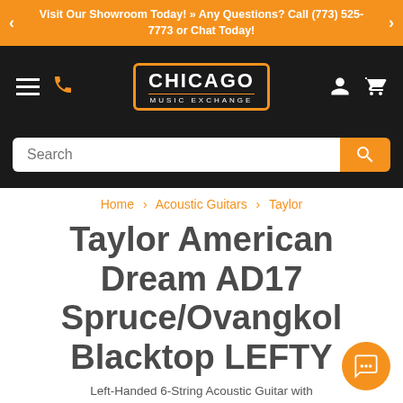Visit Our Showroom Today! » Any Questions? Call (773) 525-7773 or Chat Today!
[Figure (logo): Chicago Music Exchange logo in orange-bordered box on black navigation bar with hamburger menu, phone icon, user icon, and cart icon]
[Figure (screenshot): Search bar with placeholder text 'Search' and orange search button]
Home > Acoustic Guitars > Taylor
Taylor American Dream AD17 Spruce/Ovangkol Blacktop LEFTY
Left-Handed 6-String Acoustic Guitar with